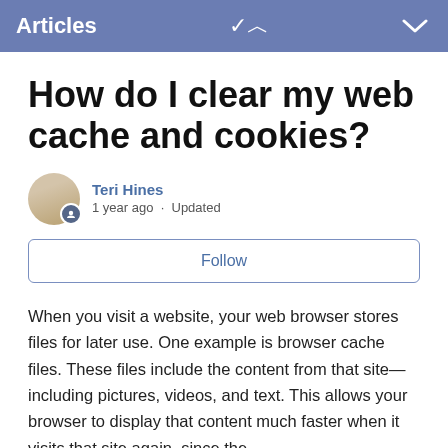Articles
How do I clear my web cache and cookies?
Teri Hines
1 year ago · Updated
Follow
When you visit a website, your web browser stores files for later use. One example is browser cache files. These files include the content from that site—including pictures, videos, and text. This allows your browser to display that content much faster when it visits that site again, since the browser is saving the files for easy access—rather than